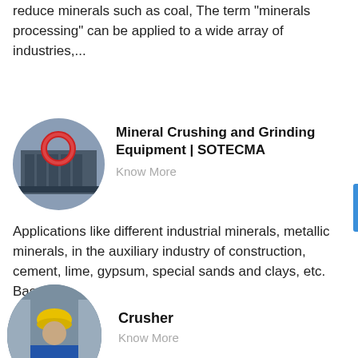reduce minerals such as coal, The term "minerals processing" can be applied to a wide array of industries,...
[Figure (photo): Circular thumbnail photo of industrial mineral crushing/grinding machinery with red and black components]
Mineral Crushing and Grinding Equipment | SOTECMA
Know More
Applications like different industrial minerals, metallic minerals, in the auxiliary industry of construction, cement, lime, gypsum, special sands and clays, etc. Based...
[Figure (photo): Circular thumbnail photo of a worker in yellow hard hat and blue uniform in an industrial setting]
Crusher
Know More